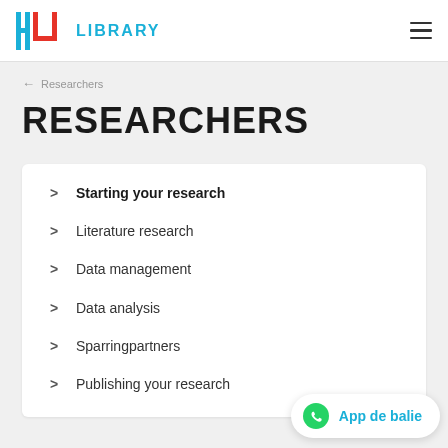HU LIBRARY
← Researchers
RESEARCHERS
Starting your research
Literature research
Data management
Data analysis
Sparringpartners
Publishing your research
App de balie